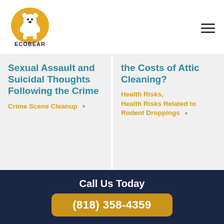[Figure (logo): EcoBear logo with bear on yellow circle background and ECOBEAR text below]
Sexual Assault and Suicidal Thoughts Following the Crime
Crime Scene Cleanup
the Costs of Attic Cleaning?
Health Risks, Health Risks Related to Rodent Droppings
Call Us Today
(818) 358-4359